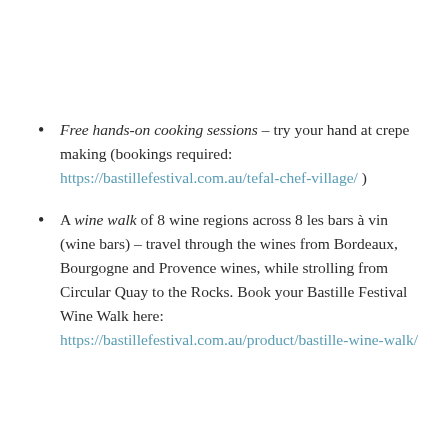Free hands-on cooking sessions – try your hand at crepe making (bookings required: https://bastillefestival.com.au/tefal-chef-village/ )
A wine walk of 8 wine regions across 8 les bars à vin (wine bars) – travel through the wines from Bordeaux, Bourgogne and Provence wines, while strolling from Circular Quay to the Rocks. Book your Bastille Festival Wine Walk here: https://bastillefestival.com.au/product/bastille-wine-walk/